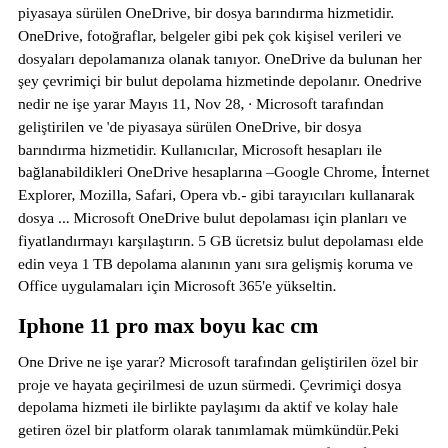piyasaya sürülen OneDrive, bir dosya barındırma hizmetidir. OneDrive, fotoğraflar, belgeler gibi pek çok kişisel verileri ve dosyaları depolamanıza olanak tanıyor. OneDrive da bulunan her şey çevrimiçi bir bulut depolama hizmetinde depolanır. Onedrive nedir ne işe yarar Mayıs 11, Nov 28, · Microsoft tarafından geliştirilen ve 'de piyasaya sürülen OneDrive, bir dosya barındırma hizmetidir. Kullanıcılar, Microsoft hesapları ile bağlanabildikleri OneDrive hesaplarına –Google Chrome, İnternet Explorer, Mozilla, Safari, Opera vb.- gibi tarayıcıları kullanarak dosya ... Microsoft OneDrive bulut depolaması için planları ve fiyatlandırmayı karşılaştırın. 5 GB ücretsiz bulut depolaması elde edin veya 1 TB depolama alanının yanı sıra gelişmiş koruma ve Office uygulamaları için Microsoft 365'e yükseltin.
Iphone 11 pro max boyu kac cm
One Drive ne işe yarar? Microsoft tarafından geliştirilen özel bir proje ve hayata geçirilmesi de uzun sürmedi. Çevrimiçi dosya depolama hizmeti ile birlikte paylaşımı da aktif ve kolay hale getiren özel bir platform olarak tanımlamak mümkündür.Peki OneDrive ne işe yarar? OneDrive nedir? Microsoft tarafından geliştirilen ve 2007 de piyasaya sürülen OneDrive, bir dosya barındırma hizmetidir. OneDrive, fotoğraflar, belgeler gibi pek çok kişisel verileri ve dosyaları depolamanıza olanak tanıyor. OneDrive da bulunan her şey çevrimiçi bir bulut depolama hizmetinde